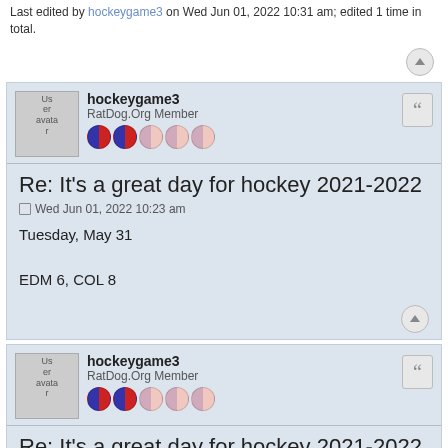Last edited by hockeygame3 on Wed Jun 01, 2022 10:31 am; edited 1 time in total.
hockeygame3
RatDog.Org Member
[reputation icons]
Re: It's a great day for hockey 2021-2022
Wed Jun 01, 2022 10:23 am
Tuesday, May 31
EDM 6, COL 8
hockeygame3
RatDog.Org Member
[reputation icons]
Re: It's a great day for hockey 2021-2022
Wed Jun 01, 2022 10:28 am
Avalanche score eight, hold off Oilers in Game 1 of Western Final